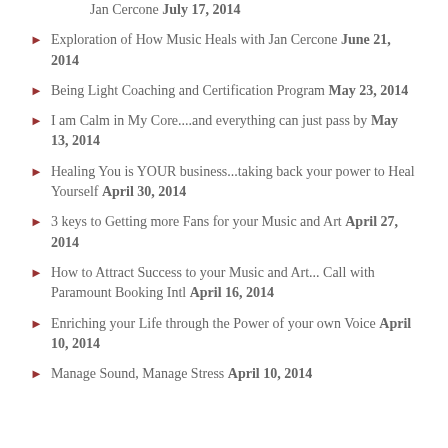Jan Cercone July 17, 2014
Exploration of How Music Heals with Jan Cercone June 21, 2014
Being Light Coaching and Certification Program May 23, 2014
I am Calm in My Core....and everything can just pass by May 13, 2014
Healing You is YOUR business...taking back your power to Heal Yourself April 30, 2014
3 keys to Getting more Fans for your Music and Art April 27, 2014
How to Attract Success to your Music and Art... Call with Paramount Booking Intl April 16, 2014
Enriching your Life through the Power of your own Voice April 10, 2014
Manage Sound, Manage Stress April 10, 2014